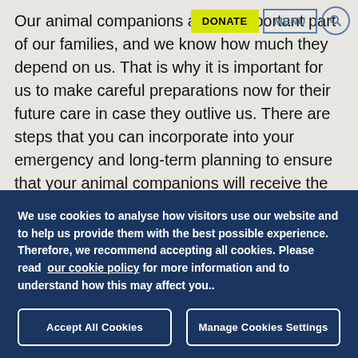DONATE | MENU | [search]
Our animal companions are an important part of our families, and we know how much they depend on us. That is why it is important for us to make careful preparations now for their future care in case they outlive us. There are steps that you can incorporate into your emergency and long-term planning to ensure that your animal companions will receive the loving care that they are accustomed to and to make the
We use cookies to analyse how visitors use our website and to help us provide them with the best possible experience. Therefore, we recommend accepting all cookies. Please read  our cookie policy for more information and to understand how this may affect you..
Accept All Cookies
Manage Cookies Settings